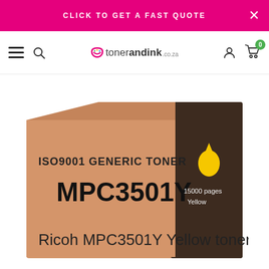CLICK TO GET A FAST QUOTE
[Figure (screenshot): tonerandink.co.za website navigation bar with hamburger menu, search icon, logo, user account icon, and cart icon with 0 badge]
[Figure (photo): ISO9001 Generic Toner cartridge box for Ricoh MPC3501Y Yellow toner, 15000 pages, yellow droplet icon on dark brown side panel]